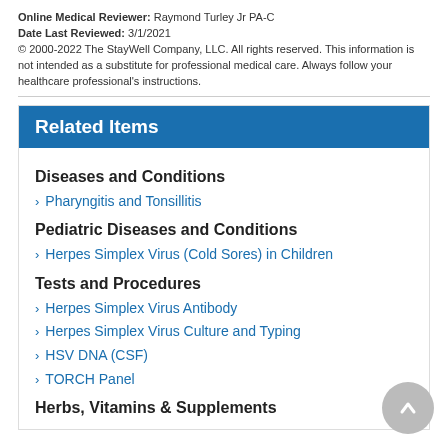Online Medical Reviewer: Raymond Turley Jr PA-C
Date Last Reviewed: 3/1/2021
© 2000-2022 The StayWell Company, LLC. All rights reserved. This information is not intended as a substitute for professional medical care. Always follow your healthcare professional's instructions.
Related Items
Diseases and Conditions
Pharyngitis and Tonsillitis
Pediatric Diseases and Conditions
Herpes Simplex Virus (Cold Sores) in Children
Tests and Procedures
Herpes Simplex Virus Antibody
Herpes Simplex Virus Culture and Typing
HSV DNA (CSF)
TORCH Panel
Herbs, Vitamins & Supplements